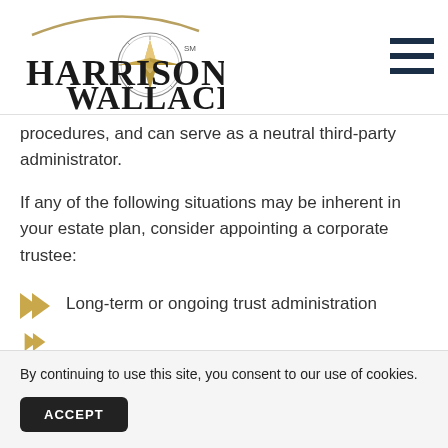[Figure (logo): Harrison Wallace company logo with compass rose emblem, text 'HARRISON WALLACE' with SM mark]
procedures, and can serve as a neutral third-party administrator.
If any of the following situations may be inherent in your estate plan, consider appointing a corporate trustee:
Long-term or ongoing trust administration
By continuing to use this site, you consent to our use of cookies.